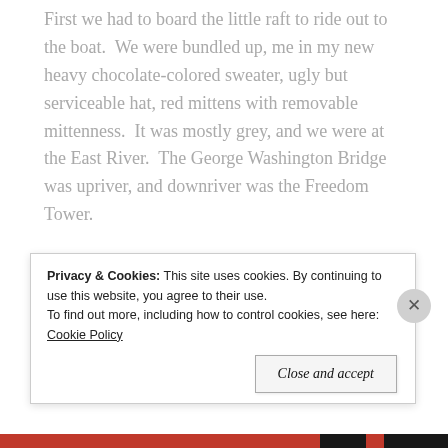First we had to board the little raft to ride out to the boat.  We were bundled up, me in my new heavy chocolate-colored sweater, ugly but serviceable hat, red mittens with removable mittenness.  It was mostly grey, and we were at the East River.  The George Washington Bridge was upriver, and downriver was the Freedom Tower.

These sailboats, where we were supposed to bond as colleagues, were small.  The other sailboats I've been on were both big enough to live on, albeit cozily.  This boat had enough space down inside it for six people to have a
Privacy & Cookies: This site uses cookies. By continuing to use this website, you agree to their use.
To find out more, including how to control cookies, see here: Cookie Policy
Close and accept